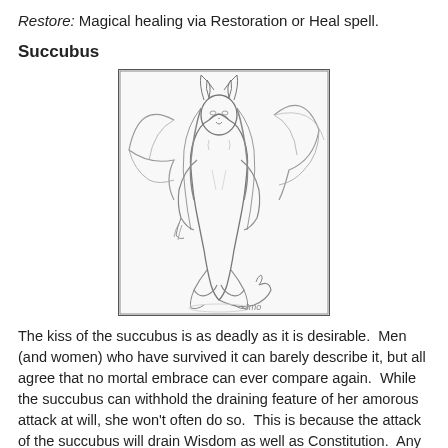Restore: Magical healing via Restoration or Heal spell.
Succubus
[Figure (illustration): Pencil sketch illustration of a succubus — a female demonic figure with bat wings, small horns, long hair, crouching pose, with a tail. Artist signature visible at bottom.]
The kiss of the succubus is as deadly as it is desirable. Men (and women) who have survived it can barely describe it, but all agree that no mortal embrace can ever compare again. While the succubus can withhold the draining feature of her amorous attack at will, she won't often do so. This is because the attack of the succubus will drain Wisdom as well as Constitution. Any victim that has lost more than 1/3 of their total Wisdom score becomes hopelessly in the thrall of the succubus. Only a Wish or similar magic can save